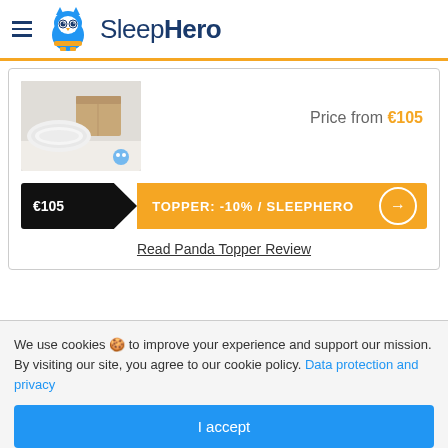SleepHero
[Figure (photo): Rolled white mattress topper or blanket next to cardboard boxes, product photo]
Price from €105
€105  TOPPER: -10% / SLEEPHERO →
Read Panda Topper Review
We use cookies 🍪 to improve your experience and support our mission. By visiting our site, you agree to our cookie policy. Data protection and privacy
I accept